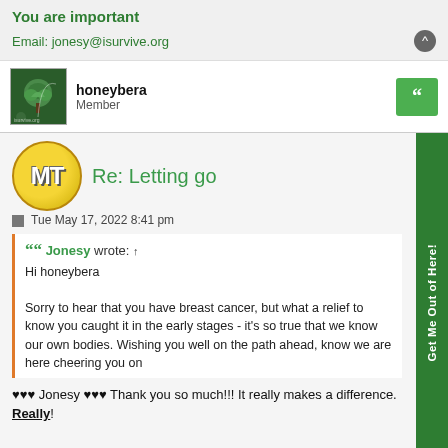You are important
Email: jonesy@isurvive.org
honeybera
Member
Re: Letting go
Tue May 17, 2022 8:41 pm
Jonesy wrote: ↑
Hi honeybera

Sorry to hear that you have breast cancer, but what a relief to know you caught it in the early stages - it's so true that we know our own bodies. Wishing you well on the path ahead, know we are here cheering you on
♥♥♥ Jonesy ♥♥♥ Thank you so much!!! It really makes a difference. Really!

I just found out this morning after reading the pathology report that it is invasive (is capable of spreading and may have spread some already), but is very tiny (0.8 cm) and will probably be satisfied with a simple